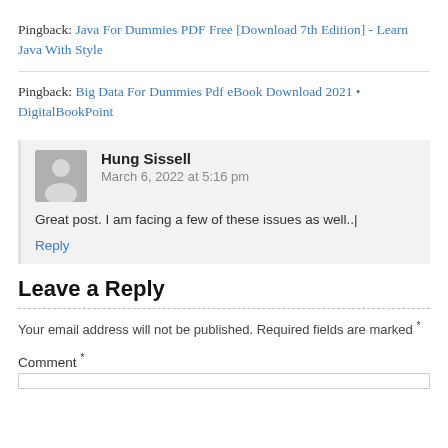Pingback: Java For Dummies PDF Free [Download 7th Edition] - Learn Java With Style
Pingback: Big Data For Dummies Pdf eBook Download 2021 • DigitalBookPoint
Hung Sissell
March 6, 2022 at 5:16 pm
Great post. I am facing a few of these issues as well.|
Reply
Leave a Reply
Your email address will not be published. Required fields are marked *
Comment *